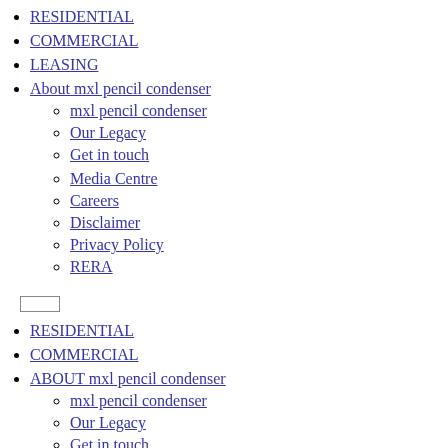RESIDENTIAL
COMMERCIAL
LEASING
About mxl pencil condenser
mxl pencil condenser
Our Legacy
Get in touch
Media Centre
Careers
Disclaimer
Privacy Policy
RERA
RESIDENTIAL
COMMERCIAL
ABOUT mxl pencil condenser
mxl pencil condenser
Our Legacy
Get in touch
Media Centre
Careers